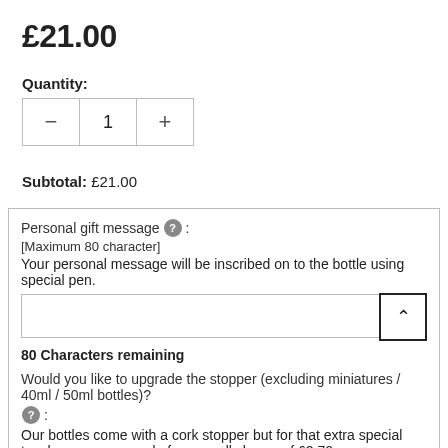£21.00
Quantity:
Subtotal: £21.00
Personal gift message [?] : [Maximum 80 character] Your personal message will be inscribed on to the bottle using special pen.
80 Characters remaining
Would you like to upgrade the stopper (excluding miniatures / 40ml / 50ml bottles)? [?] : Our bottles come with a cork stopper but for that extra special touch you can upgrade for a small charge of £2.70
YES(+£2.70)
Would you like Organza gift bag for £1? :